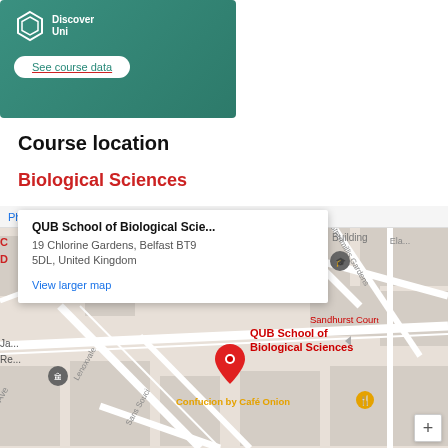[Figure (screenshot): Discover Uni banner with logo and 'See course data' button on teal/green background]
Course location
Biological Sciences
[Figure (map): Google Maps showing QUB School of Biological Sciences at 19 Chlorine Gardens, Belfast BT9 5DL, United Kingdom. Popup card visible with address and 'View larger map' link. Red pin marker labeled 'QUB School of Biological Sciences'. Nearby labels: Sandhurst Court, Confucion by Café Onion, Stranmillis Gardens, Pretoria St, Building. Zoom + button bottom right.]